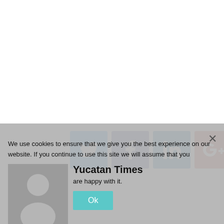[Figure (infographic): Row of four social media share buttons: Twitter (blue bird icon), Facebook (dark blue f icon), LinkedIn (blue in icon), Google+ (red G+ icon)]
We use cookies to ensure that we give you the best experience on our website. If you continue to use this site we will assume that you are happy with it.
[Figure (photo): Gray placeholder avatar silhouette image]
Yucatan Times
are happy with it.
Ok